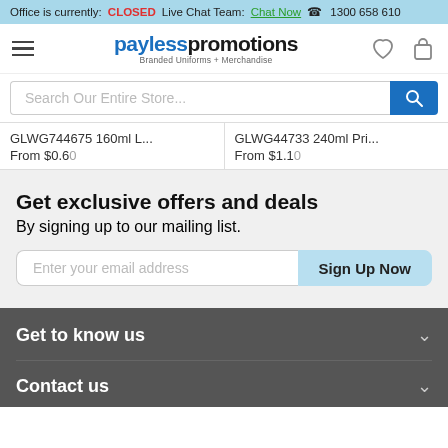Office is currently: CLOSED  Live Chat Team: Chat Now  ☎ 1300 658 610
[Figure (logo): Payless Promotions logo with tagline Branded Uniforms + Merchandise]
Search Our Entire Store...
GLWG744675 160ml L...  From $0.60
GLWG44733 240ml Pri...  From $1.10
Get exclusive offers and deals
By signing up to our mailing list.
Enter your email address
Sign Up Now
Get to know us
Contact us